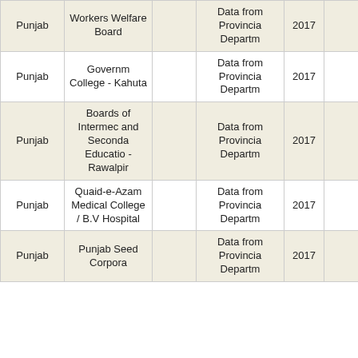| Punjab | Workers Welfare Board |  | Data from Provincial Department | 2017 |  | 0 | 0 |
| Punjab | Government College - Kahuta |  | Data from Provincial Department | 2017 |  | 1 | 1 |
| Punjab | Boards of Intermediate and Secondary Education - Rawalpindi |  | Data from Provincial Department | 2017 |  | 1 | 1 |
| Punjab | Quaid-e-Azam Medical College / B.V Hospital |  | Data from Provincial Department | 2017 |  | 1 | 1 |
| Punjab | Punjab Seed Corporation |  | Data from Provincial Department | 2017 |  | 0 | 0 |